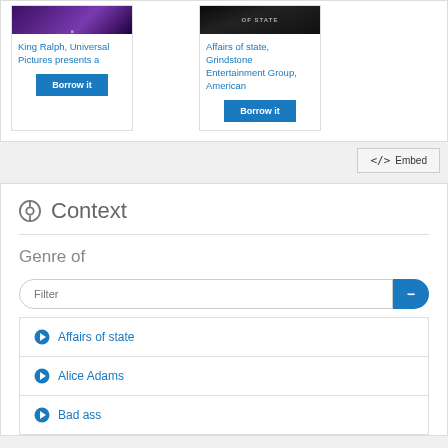King Ralph, Universal Pictures presents a
Affairs of state, Grindstone Entertainment Group, American
Borrow it
Borrow it
</> Embed
Context
Genre of
Filter
Affairs of state
Alice Adams
Bad ass